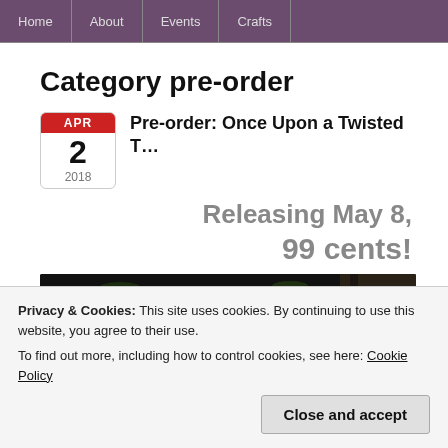Home | About | Events | Crafts
Category pre-order
Pre-order: Once Upon a Twisted T...
Releasing May 8, 99 cents!
[Figure (photo): Book cover image for 'Once Upon a Twisted Tale' showing gold cursive text over dark floral/botanical background with hanging white flowers]
Privacy & Cookies: This site uses cookies. By continuing to use this website, you agree to their use.
To find out more, including how to control cookies, see here: Cookie Policy